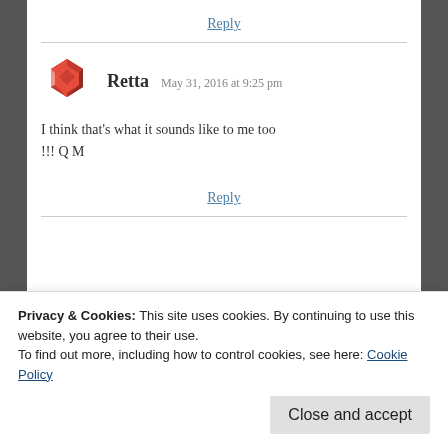Reply
[Figure (illustration): Red geometric abstract avatar logo for commenter Retta]
Retta  May 31, 2016 at 9:25 pm
I think that's what it sounds like to me too !!! Q M
Reply
Privacy & Cookies: This site uses cookies. By continuing to use this website, you agree to their use.
To find out more, including how to control cookies, see here: Cookie Policy
Close and accept